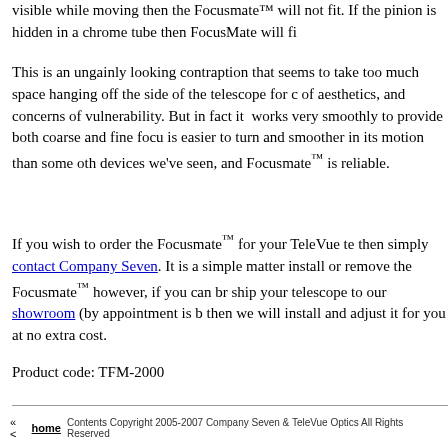visible while moving then the Focusmate will not fit. If the pinion is hidden in a chrome tube then FocusMate will fit.
This is an ungainly looking contraption that seems to take too much space hanging off the side of the telescope for concerns of aesthetics, and concerns of vulnerability. But in fact it works very smoothly to provide both coarse and fine focus, is easier to turn and smoother in its motion than some other devices we've seen, and Focusmate™ is reliable.
If you wish to order the Focusmate™ for your TeleVue telescope then simply contact Company Seven. It is a simple matter to install or remove the Focusmate™ however, if you can bring or ship your telescope to our showroom (by appointment is best) then we will install and adjust it for you at no extra cost.
Product code: TFM-2000
« < home   Contents Copyright 2005-2007 Company Seven & TeleVue Optics All Rights Reserved